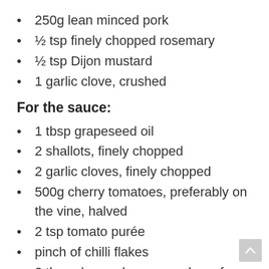250g lean minced pork
½ tsp finely chopped rosemary
½ tsp Dijon mustard
1 garlic clove, crushed
For the sauce:
1 tbsp grapeseed oil
2 shallots, finely chopped
2 garlic cloves, finely chopped
500g cherry tomatoes, preferably on the vine, halved
2 tsp tomato purée
pinch of chilli flakes
2 tbsp chopped oregano plus a few chopped leaves to garnish